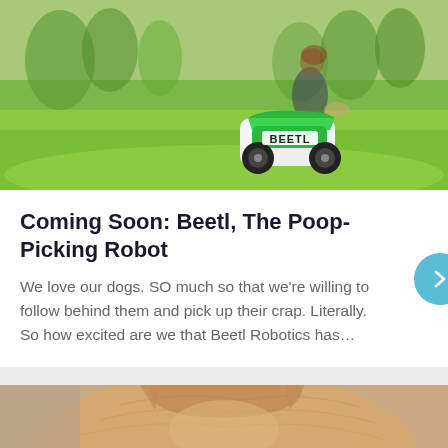[Figure (photo): Outdoor park scene with green grass. A small green and white robot labeled 'BEETL' with black wheels is in the foreground. A woman and small dog are visible in the blurred background.]
Coming Soon: Beetl, The Poop-Picking Robot
We love our dogs. SO much so that we're willing to follow behind them and pick up their crap. Literally. So how excited are we that Beetl Robotics has…
[Figure (photo): Close-up of an orange/tabby cat's fur and top of head, partially visible at the bottom of the page.]